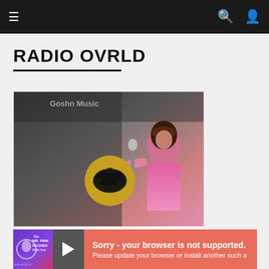Navigation bar with menu, search, and user icons
RADIO OVRLD
[Figure (photo): Photo of a woman singing into a microphone with a gold armadillo logo microphone stand in front of her, at what appears to be a music venue]
Ovrld
89 FOLLOWERS
FOLLOW
[Figure (logo): Mixcloud logo text: M-XCLOUD]
[Figure (screenshot): Media player bar with Mr Pink Records Radio Hour thumbnail, play button, and error message: Sorry - your browser is not supported. Please update your browser or install another such a...]